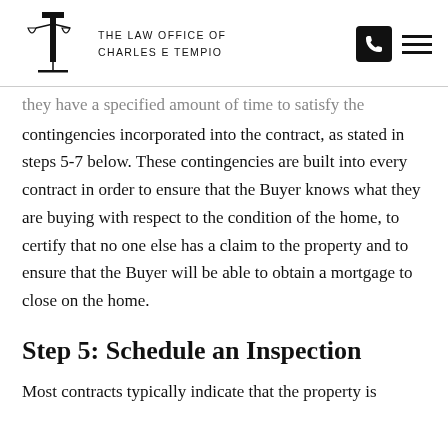THE LAW OFFICE OF CHARLES E TEMPIO
they have a specified amount of time to satisfy the contingencies incorporated into the contract, as stated in steps 5-7 below. These contingencies are built into every contract in order to ensure that the Buyer knows what they are buying with respect to the condition of the home, to certify that no one else has a claim to the property and to ensure that the Buyer will be able to obtain a mortgage to close on the home.
Step 5: Schedule an Inspection
Most contracts typically indicate that the property is